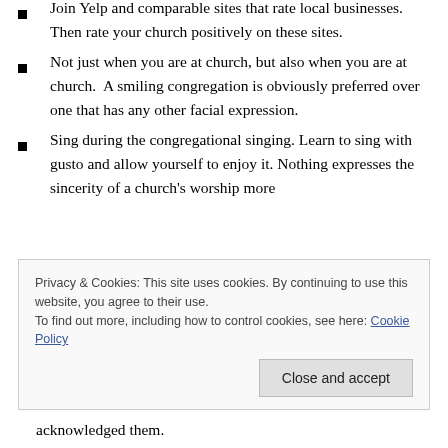Join Yelp and comparable sites that rate local businesses. Then rate your church positively on these sites.
Not just when you are at church, but also when you are at church.  A smiling congregation is obviously preferred over one that has any other facial expression.
Sing during the congregational singing. Learn to sing with gusto and allow yourself to enjoy it. Nothing expresses the sincerity of a church's worship more
Privacy & Cookies: This site uses cookies. By continuing to use this website, you agree to their use.
To find out more, including how to control cookies, see here: Cookie Policy
acknowledged them.